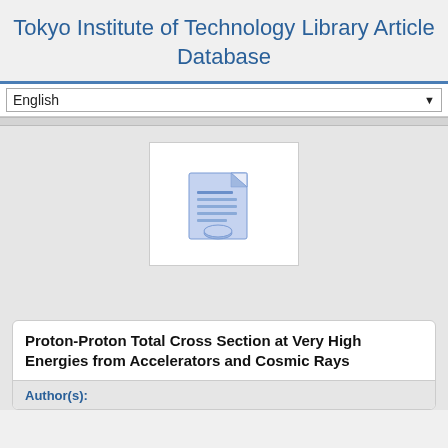Tokyo Institute of Technology Library Article Database
English
[Figure (illustration): Document/article icon showing a stylized page with lines of text and a circular element at the bottom, rendered in blue tones]
Proton-Proton Total Cross Section at Very High Energies from Accelerators and Cosmic Rays
Author(s):